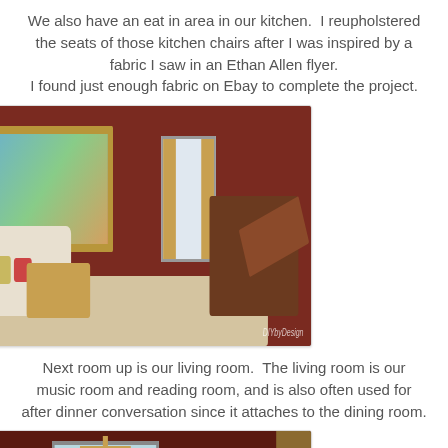We also have an eat in area in our kitchen.  I reupholstered the seats of those kitchen chairs after I was inspired by a fabric I saw in an Ethan Allen flyer.
I found just enough fabric on Ebay to complete the project.
[Figure (photo): Interior photo of a living room with a white sofa, colorful pillows, a plaid ottoman, a grand piano on the right, a framed painting on a dark red wall, a floor lamp, and a floral area rug. Watermark reads 'DIYbyDesign'.]
Next room up is our living room.  The living room is our music room and reading room, and is also often used for after dinner conversation since it attaches to the dining room.
[Figure (photo): Interior photo of an entry or bay window area with dark red walls, large drapery panels, a chandelier, a bay window letting in light, and framed artwork on the side walls.]